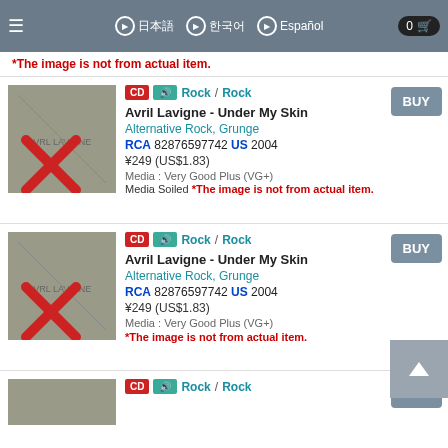≡  ❯ 日本語  ❯ 한국어  ❯ Español  0 🛒
*The image is not from actual item.
CD  🔊  Rock / Rock
Avril Lavigne - Under My Skin
Alternative Rock, Grunge
RCA 82876597742 US 2004
¥249 (US$1.83)
Media : Very Good Plus (VG+)
Media Soiled *The image is not from actual item.
CD  🔊  Rock / Rock
Avril Lavigne - Under My Skin
Alternative Rock, Grunge
RCA 82876597742 US 2004
¥249 (US$1.83)
Media : Very Good Plus (VG+)
*The image is not from actual item.
CD  🔊  Rock / Rock